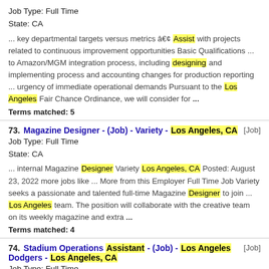Job Type: Full Time
State: CA
... key departmental targets versus metrics • Assist with projects related to continuous improvement opportunities Basic Qualifications ... to Amazon/MGM integration process, including designing and implementing process and accounting changes for production reporting ... urgency of immediate operational demands Pursuant to the Los Angeles Fair Chance Ordinance, we will consider for ...
Terms matched: 5
73. Magazine Designer - (Job) - Variety - Los Angeles, CA [Job]
Job Type: Full Time
State: CA
... internal Magazine Designer Variety Los Angeles, CA Posted: August 23, 2022 more jobs like ... More from this Employer Full Time Job Variety seeks a passionate and talented full-time Magazine Designer to join ... Los Angeles team. The position will collaborate with the creative team on its weekly magazine and extra ...
Terms matched: 4
74. Stadium Operations Assistant - (Job) - Los Angeles Dodgers - Los Angeles, CA [Job]
Job Type: Full Time
State: CA
... internal Stadium Operations Assistant Los Angeles Dodgers Los Angeles, CA Posted: August 29, 2022 ... jobs like this More from this Employer Full